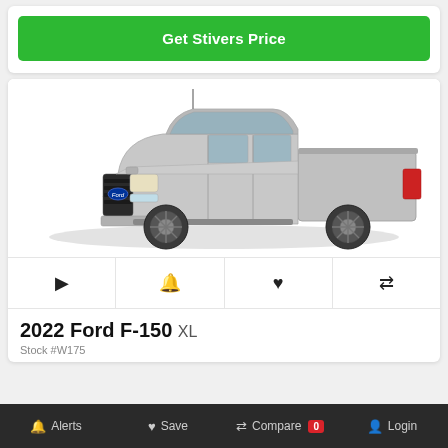Get Stivers Price
[Figure (photo): 2022 Ford F-150 XL pickup truck in silver, shown from a front 3/4 angle on a white background]
▶  🔔  ♥  ⇌
2022 Ford F-150 XL
Stock #W175
Alerts  Save  Compare 0  Login